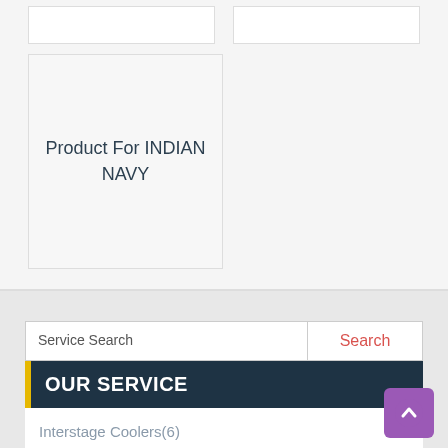[Figure (screenshot): Two small white placeholder card boxes side by side at top]
Product For INDIAN NAVY
Service Search
Search
OUR SERVICE
Interstage Coolers(6)
Centac Air Coolers(1)
Charge Air Coolers(1)